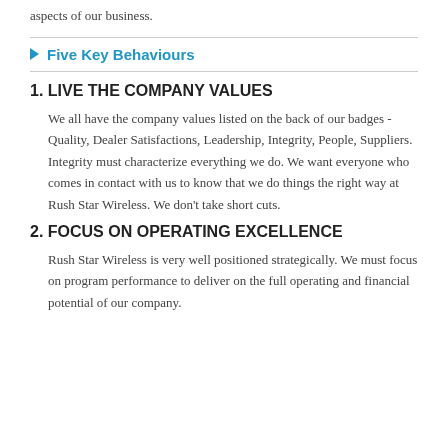aspects of our business.
Five Key Behaviours
1. LIVE THE COMPANY VALUES
We all have the company values listed on the back of our badges - Quality, Dealer Satisfactions, Leadership, Integrity, People, Suppliers. Integrity must characterize everything we do. We want everyone who comes in contact with us to know that we do things the right way at Rush Star Wireless. We don't take short cuts.
2. FOCUS ON OPERATING EXCELLENCE
Rush Star Wireless is very well positioned strategically. We must focus on program performance to deliver on the full operating and financial potential of our company.